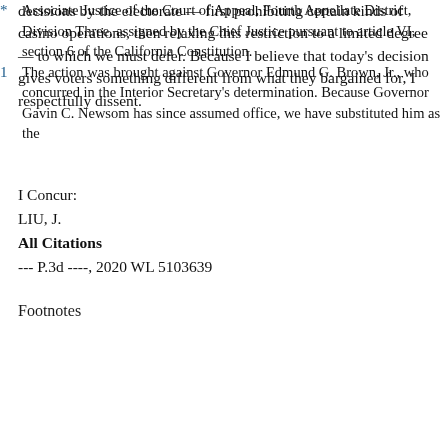decisions by the electorate — first prohibiting certain kinds of casino operations, then relaxing this restriction to a limited degree — to which we must defer. Because I believe that today's decision gives voters something different from what they bargained for, I respectfully dissent.
I Concur:
LIU, J.
All Citations
--- P.3d ----, 2020 WL 5103639
Footnotes
* Associate Justice of the Court of Appeal, Fourth Appellate District, Division Three, assigned by the Chief Justice pursuant to article VI, section 6 of the California Constitution.
1 The action was brought against Governor Edmund G. Brown, Jr., who concurred in the Interior Secretary's determination. Because Governor Gavin C. Newsom has since assumed office, we have substituted him as the